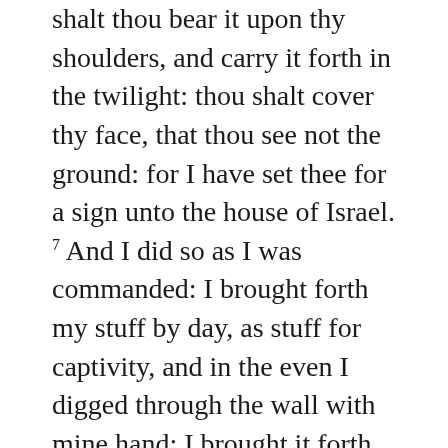shalt thou bear it upon thy shoulders, and carry it forth in the twilight: thou shalt cover thy face, that thou see not the ground: for I have set thee for a sign unto the house of Israel. 7 And I did so as I was commanded: I brought forth my stuff by day, as stuff for captivity, and in the even I digged through the wall with mine hand; I brought it forth in the twilight, and I bare it upon my shoulder in their sight. 8 And in the morning came the word of the LORD unto me, saying, 9 Son of man, hath not the house of Israel, the rebellious house, said unto thee, What doest thou? 10 Say thou unto them, Thus saith the Lord GOD; This burden concerneth the prince in Jerusalem